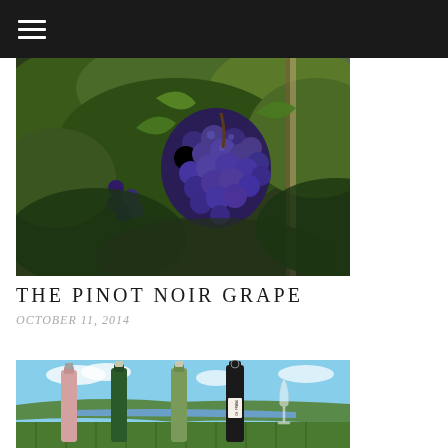≡
[Figure (photo): Close-up photograph of blue/purple Pinot Noir grapes hanging on a vine with green leaves, taken outdoors]
THE PINOT NOIR GRAPE
OCTOBER 11, 2014
[Figure (photo): Photograph of four wine bottles standing in a vineyard with a lake and hills in the background, including a rosé bottle and a CH. FRANK labeled sparkling wine bottle]